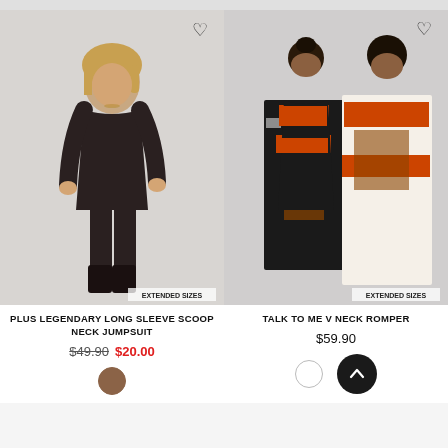[Figure (photo): Woman wearing a dark brown/black long sleeve scoop neck jumpsuit with black boots. Badge reads EXTENDED SIZES.]
PLUS LEGENDARY LONG SLEEVE SCOOP NECK JUMPSUIT
$49.90  $20.00
[Figure (photo): Two women wearing an orange, black and white printed V neck romper/shirt dress. Badge reads EXTENDED SIZES.]
TALK TO ME V NECK ROMPER
$59.90